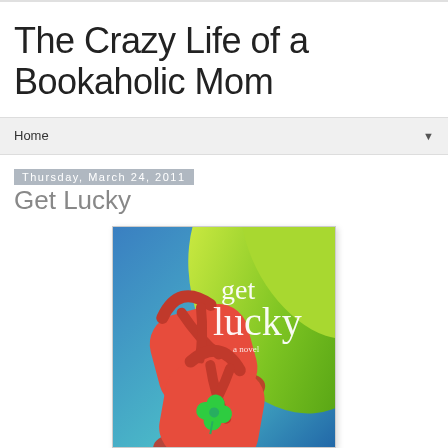The Crazy Life of a Bookaholic Mom
Home
Thursday, March 24, 2011
Get Lucky
[Figure (illustration): Book cover of 'Get Lucky' — a novel. Shows red flip-flops with a green four-leaf clover on a colorful blue and green swirling background. Title text 'get lucky' in white serif font, with 'a novel' in small text below.]